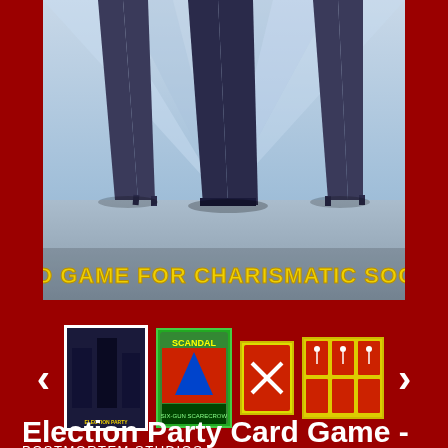[Figure (illustration): Banner image for Election Party Card Game showing silhouettes of people on a blue/grey background with text 'THE CARD GAME FOR CHARISMATIC SOCIOPATHS' in yellow letters]
[Figure (illustration): Row of four product thumbnail images showing game cards and components, with left and right navigation arrows on either side]
Election Party Card Game - HARDCOPY VERSION
POSTMORTEM STUDIOS